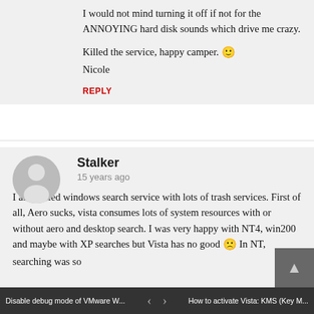I would not mind turning it off if not for the ANNOYING hard disk sounds which drive me crazy.

Killed the service, happy camper. 🙂
Nicole
REPLY
[Figure (illustration): Gray circular avatar placeholder with a silhouette of a person]
Stalker
15 years ago
I also killed windows search service with lots of trash services. First of all, Aero sucks, vista consumes lots of system resources with or without aero and desktop search. I was very happy with NT4, win200 and maybe with XP searches but Vista has no good 🙁 In NT, searching was so...
Disable debug mode of VMware W... | < > | How to activate Vista: KMS (Key M...